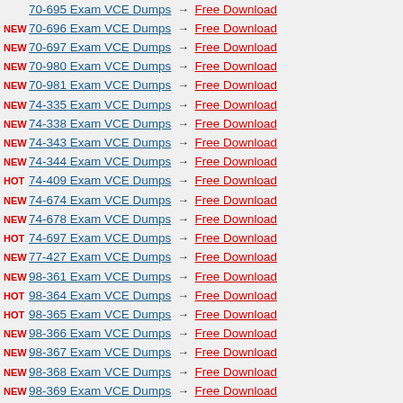70-695 Exam VCE Dumps → Free Download
NEW 70-696 Exam VCE Dumps → Free Download
NEW 70-697 Exam VCE Dumps → Free Download
NEW 70-980 Exam VCE Dumps → Free Download
NEW 70-981 Exam VCE Dumps → Free Download
NEW 74-335 Exam VCE Dumps → Free Download
NEW 74-338 Exam VCE Dumps → Free Download
NEW 74-343 Exam VCE Dumps → Free Download
NEW 74-344 Exam VCE Dumps → Free Download
HOT 74-409 Exam VCE Dumps → Free Download
NEW 74-674 Exam VCE Dumps → Free Download
NEW 74-678 Exam VCE Dumps → Free Download
HOT 74-697 Exam VCE Dumps → Free Download
NEW 77-427 Exam VCE Dumps → Free Download
NEW 98-361 Exam VCE Dumps → Free Download
HOT 98-364 Exam VCE Dumps → Free Download
HOT 98-365 Exam VCE Dumps → Free Download
NEW 98-366 Exam VCE Dumps → Free Download
NEW 98-367 Exam VCE Dumps → Free Download
NEW 98-368 Exam VCE Dumps → Free Download
NEW 98-369 Exam VCE Dumps → Free Download
NEW 98-375 Exam VCE Dumps → Free Download